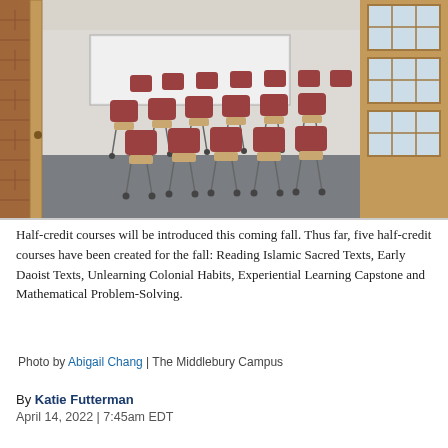[Figure (photo): An empty classroom viewed through an open wooden door with glass panes. Rows of red/maroon padded chairs with attached writing tablets on wheels are arranged on a grey carpeted floor. A whiteboard or projection screen is visible at the front. Natural light comes through large windows on the right wall.]
Half-credit courses will be introduced this coming fall. Thus far, five half-credit courses have been created for the fall: Reading Islamic Sacred Texts, Early Daoist Texts, Unlearning Colonial Habits, Experiential Learning Capstone and Mathematical Problem-Solving.
Photo by Abigail Chang | The Middlebury Campus
By Katie Futterman
April 14, 2022 | 7:45am EDT